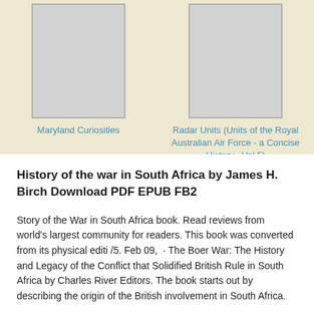[Figure (illustration): Book cover placeholder for Maryland Curiosities — grey rectangle with border on beige background]
Maryland Curiosities
[Figure (illustration): Book cover placeholder for Radar Units (Units of the Royal Australian Air Force - a Concise History, Vol 5) — grey rectangle with border on beige background]
Radar Units (Units of the Royal Australian Air Force - a Concise History , Vol 5)
History of the war in South Africa by James H. Birch Download PDF EPUB FB2
Story of the War in South Africa book. Read reviews from world's largest community for readers. This book was converted from its physical editi /5. Feb 09,  · The Boer War: The History and Legacy of the Conflict that Solidified British Rule in South Africa by Charles River Editors. The book starts out by describing the origin of the British involvement in South Africa.